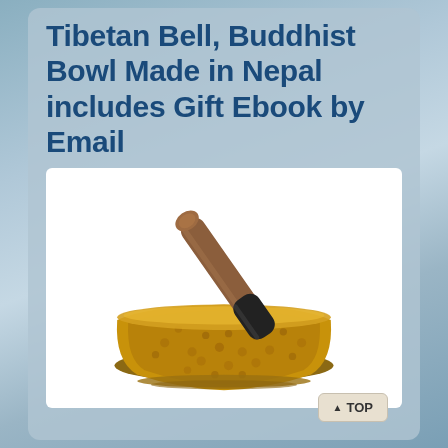Tibetan Bell, Buddhist Bowl Made in Nepal includes Gift Ebook by Email
[Figure (photo): A hammered brass/gold Tibetan singing bowl with a wooden mallet/striker resting across the top. The bowl is gold-colored with a dimpled hammered texture. The mallet has a dark fabric-wrapped grip end and a natural wood cylindrical handle. White background product photo.]
TOP